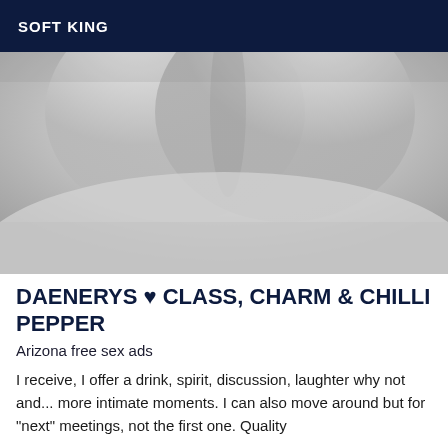SOFT KING
[Figure (photo): Close-up black and white photograph showing soft fabric or skin texture in white/light gray tones]
DAENERYS ♥ CLASS, CHARM & CHILLI PEPPER
Arizona free sex ads
I receive, I offer a drink, spirit, discussion, laughter why not and... more intimate moments. I can also move around but for "next" meetings, not the first one. Quality